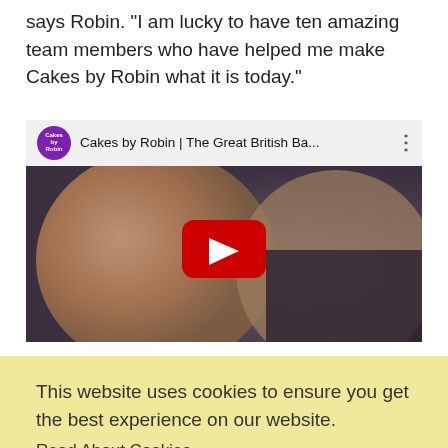says Robin. "I am lucky to have ten amazing team members who have helped me make Cakes by Robin what it is today."
[Figure (screenshot): YouTube video embed thumbnail showing 'Cakes by Robin | The Great British Ba...' with a play button overlay and two people in the thumbnail image]
This website uses cookies to ensure you get the best experience on our website.
Read About Cookies
Got it!